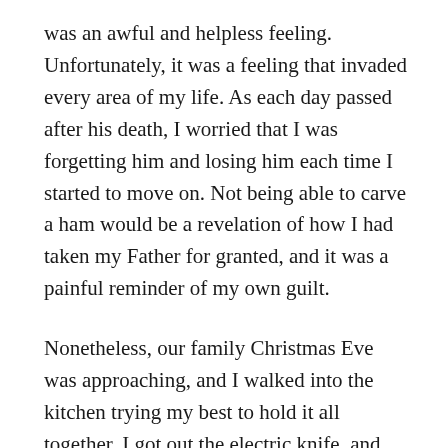was an awful and helpless feeling. Unfortunately, it was a feeling that invaded every area of my life. As each day passed after his death, I worried that I was forgetting him and losing him each time I started to move on. Not being able to carve a ham would be a revelation of how I had taken my Father for granted, and it was a painful reminder of my own guilt.
Nonetheless, our family Christmas Eve was approaching, and I walked into the kitchen trying my best to hold it all together. I got out the electric knife, and remembered Dad telling me to install the blade before plugging it in to avoid any tragic digit-dissections. Point taken, Pop—point taken.